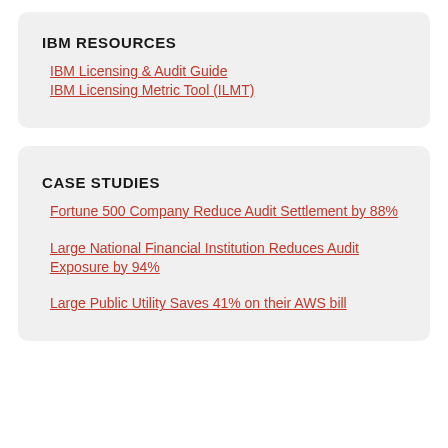IBM RESOURCES
IBM Licensing & Audit Guide
IBM Licensing Metric Tool (ILMT)
CASE STUDIES
Fortune 500 Company Reduce Audit Settlement by 88%
Large National Financial Institution Reduces Audit Exposure by 94%
Large Public Utility Saves 41% on their AWS bill